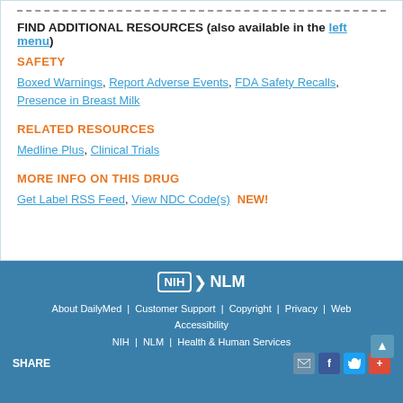FIND ADDITIONAL RESOURCES (also available in the left menu)
SAFETY
Boxed Warnings, Report Adverse Events, FDA Safety Recalls, Presence in Breast Milk
RELATED RESOURCES
Medline Plus, Clinical Trials
MORE INFO ON THIS DRUG
Get Label RSS Feed, View NDC Code(s)   NEW!
NIH | NLM | About DailyMed | Customer Support | Copyright | Privacy | Web Accessibility | NIH | NLM | Health & Human Services | SHARE